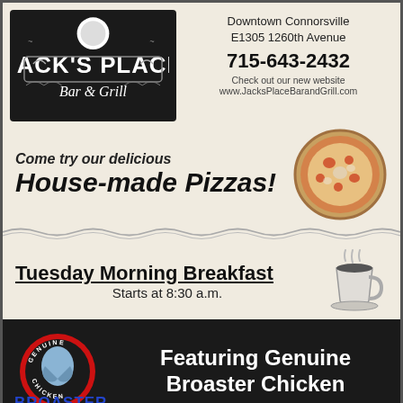[Figure (logo): Jack's Place Bar & Grill logo on black background]
Downtown Connorsville
E1305 1260th Avenue
715-643-2432
Check out our new website
www.JacksPlaceBarandGrill.com
Come try our delicious
House-made Pizzas!
[Figure (photo): Photo of a pizza]
Tuesday Morning Breakfast
Starts at 8:30 a.m.
[Figure (illustration): Coffee cup with steam illustration]
[Figure (logo): Genuine Broaster Chicken logo]
Featuring Genuine Broaster Chicken
Happy Hour - Monday-Friday • 3-6 p.m.
Check out our Facebook page for weekly
DJ Entertainment and other events!